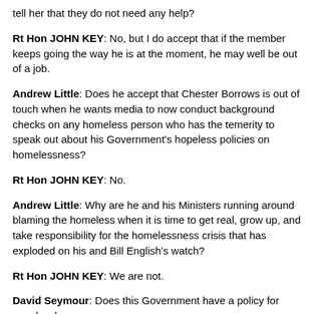tell her that they do not need any help?
Rt Hon JOHN KEY: No, but I do accept that if the member keeps going the way he is at the moment, he may well be out of a job.
Andrew Little: Does he accept that Chester Borrows is out of touch when he wants media to now conduct background checks on any homeless person who has the temerity to speak out about his Government's hopeless policies on homelessness?
Rt Hon JOHN KEY: No.
Andrew Little: Why are he and his Ministers running around blaming the homeless when it is time to get real, grow up, and take responsibility for the homelessness crisis that has exploded on his and Bill English's watch?
Rt Hon JOHN KEY: We are not.
David Seymour: Does this Government have a policy for people who